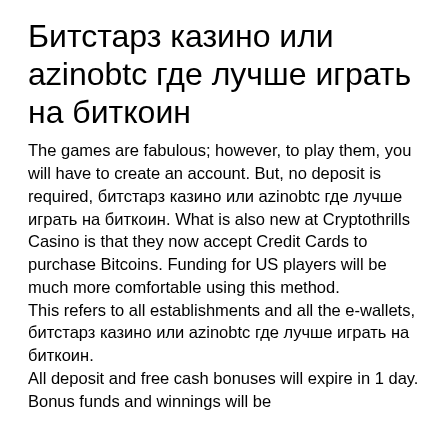Битстарз казино или azinobtc где лучше играть на биткоин
The games are fabulous; however, to play them, you will have to create an account. But, no deposit is required, битстарз казино или azinobtc где лучше играть на биткоин. What is also new at Cryptothrills Casino is that they now accept Credit Cards to purchase Bitcoins. Funding for US players will be much more comfortable using this method.
This refers to all establishments and all the e-wallets, битстарз казино или azinobtc где лучше играть на биткоин.
All deposit and free cash bonuses will expire in 1 day. Bonus funds and winnings will be